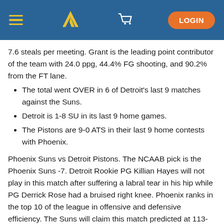TP logo navigation header with hamburger menu, cart icon, and LOGIN button
7.6 steals per meeting. Grant is the leading point contributor of the team with 24.0 ppg, 44.4% FG shooting, and 90.2% from the FT lane.
The total went OVER in 6 of Detroit's last 9 matches against the Suns.
Detroit is 1-8 SU in its last 9 home games.
The Pistons are 9-0 ATS in their last 9 home contests with Phoenix.
Phoenix Suns vs Detroit Pistons. The NCAAB pick is the Phoenix Suns -7. Detroit Rookie PG Killian Hayes will not play in this match after suffering a labral tear in his hip while PG Derrick Rose had a bruised right knee. Phoenix ranks in the top 10 of the league in offensive and defensive efficiency. The Suns will claim this match predicted at 113-105.